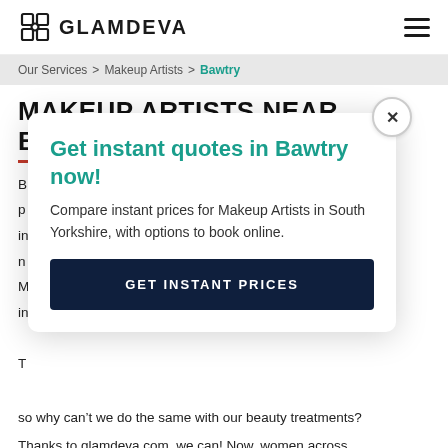GLAMDEVA
Our Services > Makeup Artists > Bawtry
MAKEUP ARTISTS NEAR BAWTRY
[Figure (infographic): Modal popup overlay with teal heading 'Get instant quotes in Bawtry now!', description text 'Compare instant prices for Makeup Artists in South Yorkshire, with options to book online.', and a dark navy button labeled 'GET INSTANT PRICES'. A close (×) button is in the top right corner.]
so why can't we do the same with our beauty treatments?
Thanks to glamdeva.com, we can! Now, women across